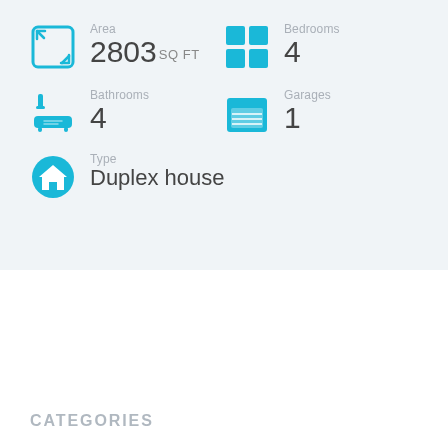Area 2803 SQ FT
Bedrooms 4
Bathrooms 4
Garages 1
Type Duplex house
CATEGORIES